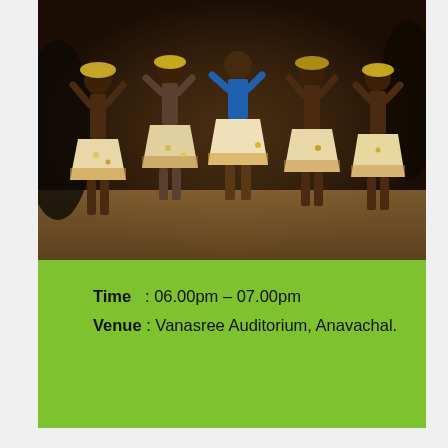[Figure (photo): Traditional tribal/folk dancers performing outdoors, wearing decorated grass skirts with ornaments and body decoration, photographed at night or low light on a sandy ground]
Time   : 06.00pm – 07.00pm
Venue : Vanasree Auditorium, Anavachal.
[Figure (photo): Street scene showing commercial area with shops, billboards including 'Art's' and 'Spices' signage, buildings, power lines, and blue sky with clouds]